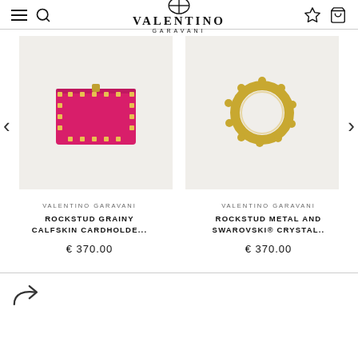VALENTINO GARAVANI
[Figure (photo): Valentino Garavani Rockstud Grainy Calfskin Cardholder in pink/fuchsia with gold studs]
VALENTINO GARAVANI
ROCKSTUD GRAINY CALFSKIN CARDHOLDE...
€ 370.00
[Figure (photo): Valentino Garavani Rockstud Metal and Swarovski Crystal ring in gold tone]
VALENTINO GARAVANI
ROCKSTUD METAL AND SWAROVSKI® CRYSTAL..
€ 370.00